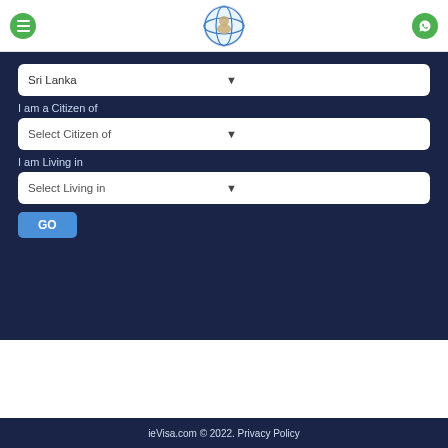[Figure (logo): ieVisa.com logo with globe and dog icon]
Sri Lanka
I am a Citizen of
Select Citizen of
I am Living in
Select Living in
GO
ieVisa.com © 2022. Privacy Policy